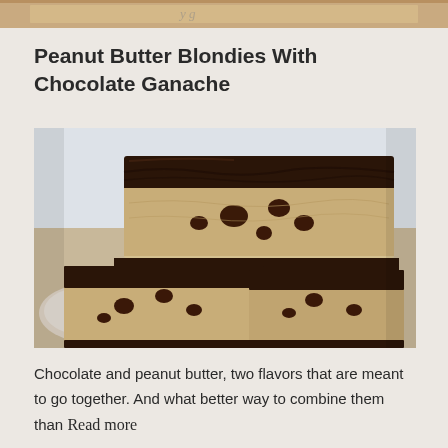[Figure (photo): Partial top strip showing edge of another food photo above]
Peanut Butter Blondies With Chocolate Ganache
[Figure (photo): Stacked peanut butter blondie bars with thick chocolate ganache topping and chocolate chips visible inside the layered bars, placed on a decorative plate]
Chocolate and peanut butter, two flavors that are meant to go together. And what better way to combine them than Read more